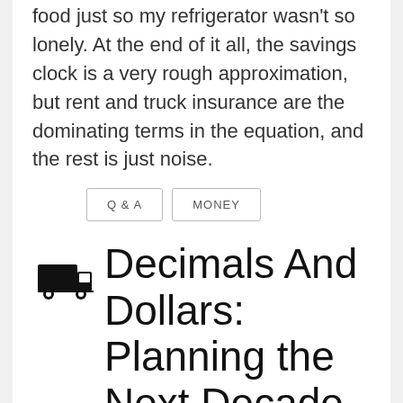food just so my refrigerator wasn't so lonely. At the end of it all, the savings clock is a very rough approximation, but rent and truck insurance are the dominating terms in the equation, and the rest is just noise.
Q & A
MONEY
Decimals And Dollars: Planning the Next Decade
November 15, 2015 at 11:35 PM